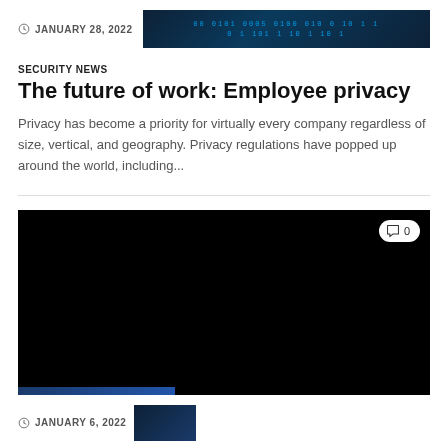JANUARY 28, 2022
[Figure (photo): Dark blue binary code / digital matrix header image]
SECURITY NEWS
The future of work: Employee privacy
Privacy has become a priority for virtually every company regardless of size, vertical, and geography. Privacy regulations have popped up around the world, including...
[Figure (photo): Dark/black image (article thumbnail), with a comment badge showing '0' comments and a small blue strip at bottom left]
JANUARY 6, 2022